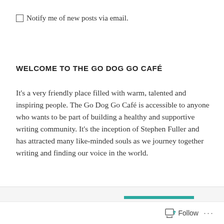☐ Notify me of new posts via email.
WELCOME TO THE GO DOG GO CAFÉ
It's a very friendly place filled with warm, talented and inspiring people. The Go Dog Go Café is accessible to anyone who wants to be part of building a healthy and supportive writing community. It's the inception of Stephen Fuller and has attracted many like-minded souls as we journey together writing and finding our voice in the world.
Follow